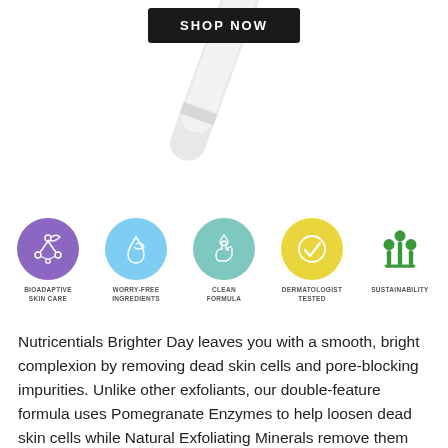[Figure (other): SHOP NOW button, dark/black rectangle with white bold text]
[Figure (photo): White product tube/bottle partially visible at upper center, on white background]
[Figure (infographic): Five circular icons in a row: purple circle with plant/molecule icon (BIOADAPTIVE SKIN CARE), light blue circle with water drop and leaf icon (WORRY-FREE INGREDIENTS), teal/mint circle with hand and drop icon (CLEAN FORMULA), yellow circle with checkmark (DERMATOLOGIST TESTED), green circle with tree/people icon (SUSTAINABILITY)]
Nutricentials Brighter Day leaves you with a smooth, bright complexion by removing dead skin cells and pore-blocking impurities. Unlike other exfoliants, our double-feature formula uses Pomegranate Enzymes to help loosen dead skin cells while Natural Exfoliating Minerals remove them from your skin. Combining both enzymatic and physical exfoliation more effectively clears out dead skin cells without damaging your